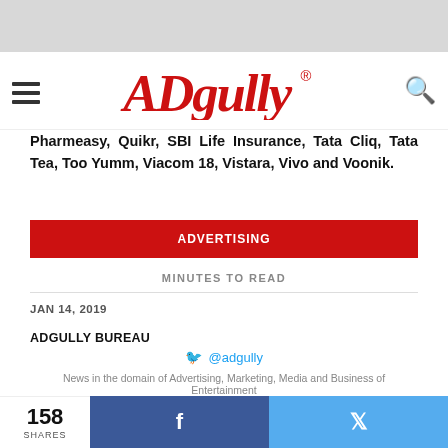[Figure (logo): Adgully logo in red script font with registered trademark symbol]
Pharmeasy, Quikr, SBI Life Insurance, Tata Cliq, Tata Tea, Too Yumm, Viacom 18, Vistara, Vivo and Voonik.
ADVERTISING
MINUTES TO READ
JAN 14, 2019
ADGULLY BUREAU
@adgully
News in the domain of Advertising, Marketing, Media and Business of Entertainment
RELATED ITEMS   AMER JALEEL   VIRAT TANDON   VIKAS MEHTA   MULLEN LINTAS
158 SHARES